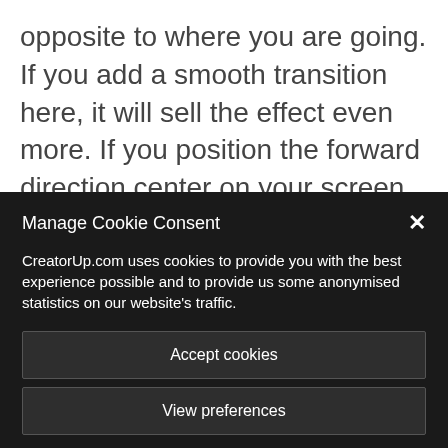opposite to where you are going. If you add a smooth transition here, it will sell the effect even more. If you position the forward direction center on your screen, you can create a ‘Dr Strange Style’ zoom into a ‘different world’ effect like this – I
Manage Cookie Consent
CreatorUp.com uses cookies to provide you with the best experience possible and to provide us some anonymised statistics on our website's traffic.
Accept cookies
View preferences